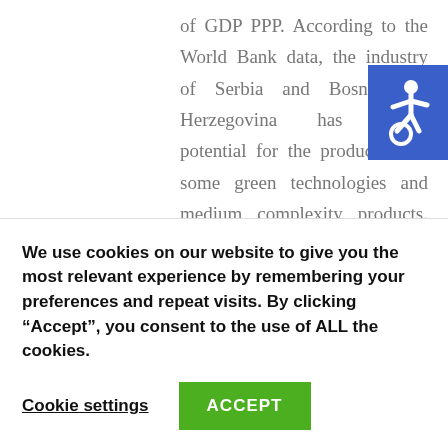of GDP PPP. According to the World Bank data, the industry of Serbia and Bosnia and Herzegovina has sound potential for the production of some green technologies and medium complexity products. The entire region has untapped potential for development of innovation and it is something that should be developed in line with the Green Agenda plans.

To conclude, political will is important but certainly not the only parameter on which green
[Figure (illustration): Accessibility icon - white wheelchair symbol on blue square background]
We use cookies on our website to give you the most relevant experience by remembering your preferences and repeat visits. By clicking “Accept”, you consent to the use of ALL the cookies.
Cookie settings   ACCEPT